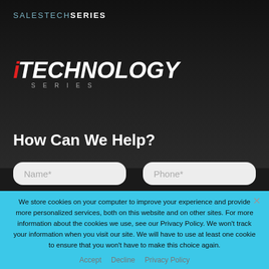SALESTECH SERIES
[Figure (logo): iTECHNOLOGY SERIES logo with red italic i and white bold TECHNOLOGY text]
How Can We Help?
[Figure (screenshot): Name* input field (rounded white box)]
[Figure (screenshot): Phone* input field (rounded white box)]
We store cookies on your computer to improve your experience and provide more personalized services, both on this website and on other sites. For more information about the cookies we use, see our Privacy Policy. We won't track your information when you visit our site. We will have to use at least one cookie to ensure that you won't have to make this choice again.
Accept
Decline
Privacy Policy